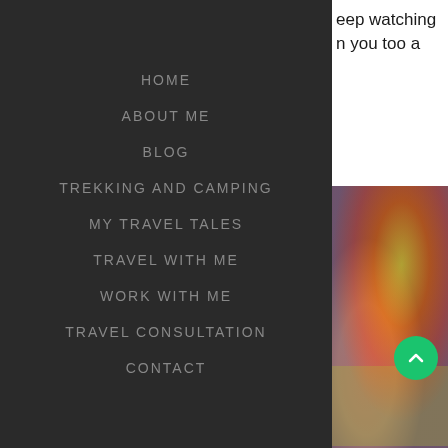HOME
ABOUT ME
BLOG
TREKKING AND CAMPING
MY TRAVEL TALES
TRAVEL WITH ME
WORK WITH ME
TRAVEL CONSULTATION
CONTACT
eep watching n you too a
[Figure (photo): Blurred colorful abstract image with red, orange, yellow, purple and green tones]